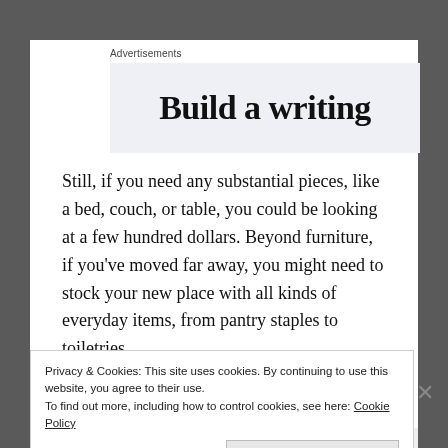Advertisements
[Figure (other): Advertisement banner showing partial text 'Build a writing' on a light blue-gray background]
Still, if you need any substantial pieces, like a bed, couch, or table, you could be looking at a few hundred dollars. Beyond furniture, if you've moved far away, you might need to stock your new place with all kinds of everyday items, from pantry staples to toiletries.
Privacy & Cookies: This site uses cookies. By continuing to use this website, you agree to their use.
To find out more, including how to control cookies, see here: Cookie Policy
Close and accept